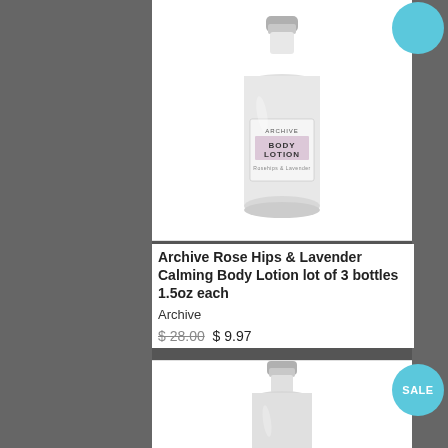[Figure (photo): Archive Rose Hips & Lavender Body Lotion bottle, white frosted glass milk-bottle shape with silver screw cap, label reading ARCHIVE BODY LOTION Rosehips & Lavender. Blue circular badge partially visible at top right corner.]
Archive Rose Hips & Lavender Calming Body Lotion lot of 3 bottles 1.5oz each
Archive
$ 28.00 $ 9.97
[Figure (photo): Second Archive body lotion bottle, same white frosted glass milk-bottle shape with silver screw cap, shown from slightly lower angle. SALE blue circular badge at top right.]